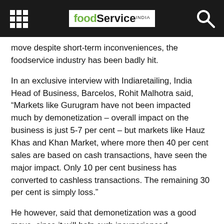foodService INDIA
move despite short-term inconveniences, the foodservice industry has been badly hit.
In an exclusive interview with Indiaretailing, India Head of Business, Barcelos, Rohit Malhotra said, “Markets like Gurugram have not been impacted much by demonetization – overall impact on the business is just 5-7 per cent – but markets like Hauz Khas and Khan Market, where more then 40 per cent sales are based on cash transactions, have seen the major impact. Only 10 per cent business has converted to cashless transactions. The remaining 30 per cent is simply loss.”
He however, said that demonetization was a good move, since it will help curb inexperienced restaurateurs opening eateries only to convert black money into white. The future, Malhotra says, seems bright since after three or four months, the